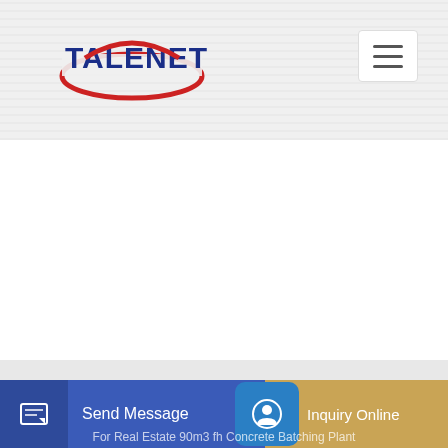[Figure (logo): Talenet company logo with red oval/swoosh and blue bold text TALENET]
Related Products
Mixer pump truck combo Pumi
Shotcrete Steves Concrete Pumping
For Real Estate 90m3 fh Concrete Batching Plant
Send Message | Inquiry Online